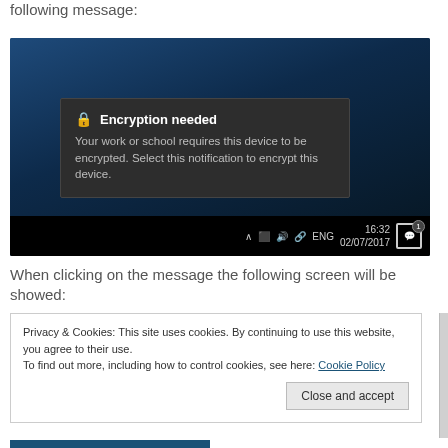following message:
[Figure (screenshot): Windows 10 desktop screenshot showing a toast notification: 'Encryption needed — Your work or school requires this device to be encrypted. Select this notification to encrypt this device.' Taskbar shows time 16:32 on 02/07/2017, ENG, and a notification bell with badge.]
When clicking on the message the following screen will be showed:
Privacy & Cookies: This site uses cookies. By continuing to use this website, you agree to their use.
To find out more, including how to control cookies, see here: Cookie Policy
[Close and accept button]